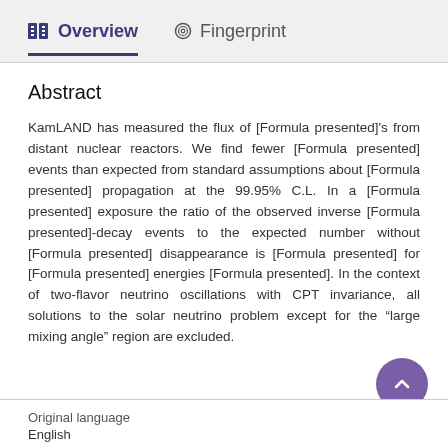Overview   Fingerprint
Abstract
KamLAND has measured the flux of [Formula presented]'s from distant nuclear reactors. We find fewer [Formula presented] events than expected from standard assumptions about [Formula presented] propagation at the 99.95% C.L. In a [Formula presented] exposure the ratio of the observed inverse [Formula presented]-decay events to the expected number without [Formula presented] disappearance is [Formula presented] for [Formula presented] energies [Formula presented]. In the context of two-flavor neutrino oscillations with CPT invariance, all solutions to the solar neutrino problem except for the “large mixing angle” region are excluded.
Original language
English